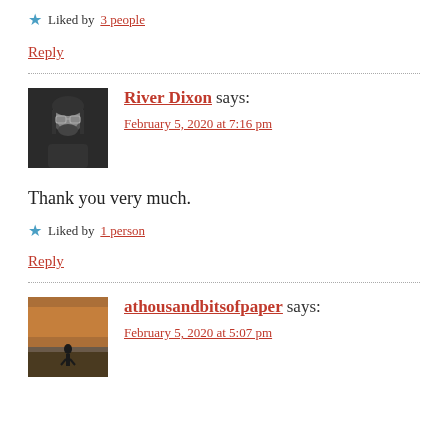★ Liked by 3 people
Reply
River Dixon says:
February 5, 2020 at 7:16 pm
Thank you very much.
★ Liked by 1 person
Reply
athousandbitsofpaper says:
February 5, 2020 at 5:07 pm